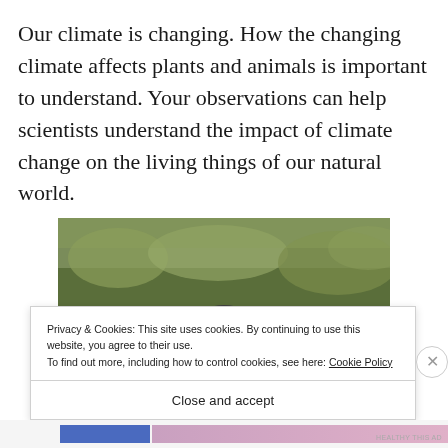Our climate is changing. How the changing climate affects plants and animals is important to understand. Your observations can help scientists understand the impact of climate change on the living things of our natural world.
[Figure (photo): A photo showing an animal (appears to be a bear or similar wildlife) in a natural green grassy/shrubby environment, partially visible at the bottom of the image.]
Privacy & Cookies: This site uses cookies. By continuing to use this website, you agree to their use.
To find out more, including how to control cookies, see here: Cookie Policy
Close and accept